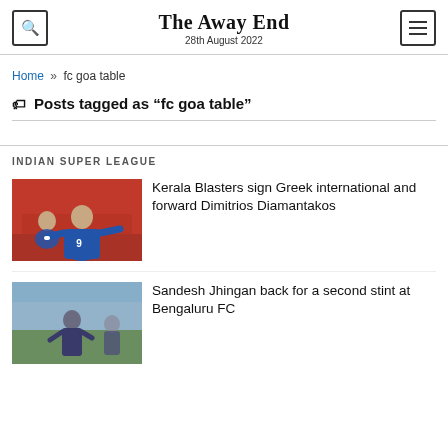The Away End
28th August 2022
Home » fc goa table
Posts tagged as "fc goa table"
INDIAN SUPER LEAGUE
[Figure (photo): Football player wearing blue jersey number 9 celebrating on red-background pitch, with another player behind him]
Kerala Blasters sign Greek international and forward Dimitrios Diamantakos
[Figure (photo): Football player in blue kit standing on a stadium pitch, partial view]
Sandesh Jhingan back for a second stint at Bengaluru FC